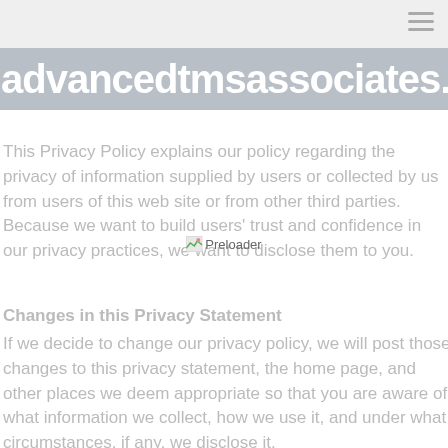advancedtmsassociates.
[Figure (other): Preloader image placeholder with text 'Preloader']
This Privacy Policy explains our policy regarding the privacy of information supplied by users or collected by us from users of this web site or from other third parties. Because we want to build users' trust and confidence in our privacy practices, we want to disclose them to you.
Changes in this Privacy Statement
If we decide to change our privacy policy, we will post those changes to this privacy statement, the home page, and other places we deem appropriate so that you are aware of what information we collect, how we use it, and under what circumstances, if any, we disclose it.
We reserve the right to modify this privacy statement at any time, so please review it frequently. If we make material changes to this policy